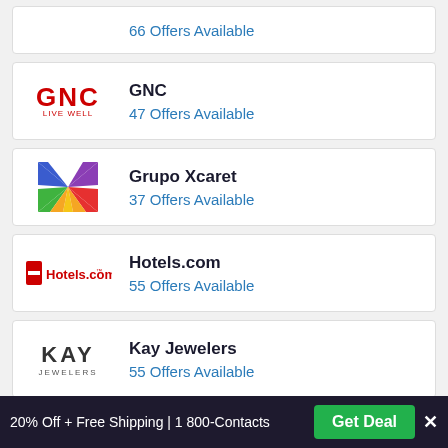66 Offers Available
GNC
47 Offers Available
Grupo Xcaret
37 Offers Available
Hotels.com
55 Offers Available
Kay Jewelers
55 Offers Available
Marriott
20% Off + Free Shipping | 1 800-Contacts   Get Deal  ×